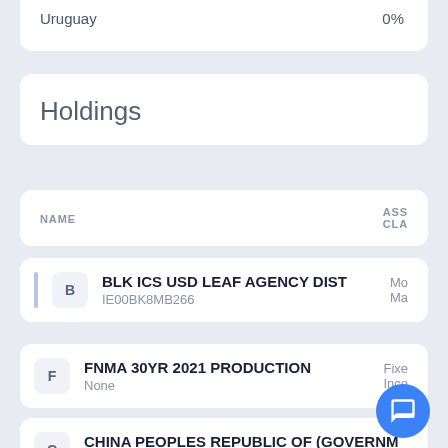Uruguay   0%
Holdings
| NAME | ASSET CLASS |
| --- | --- |
| BLK ICS USD LEAF AGENCY DIST
IE00BK8MB266 | Mo
Ma |
| FNMA 30YR 2021 PRODUCTION
None | Fixe
Inco |
| CHINA PEOPLES REPUBLIC OF (GOVERNM
CND100036Q75 |  |